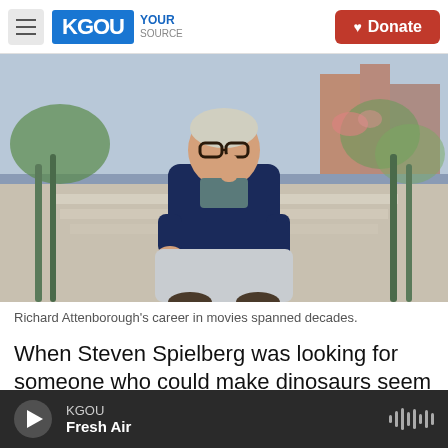KGOU | Donate
[Figure (photo): Richard Attenborough sitting on outdoor steps, wearing glasses and a dark navy blazer, resting chin on hand in a thoughtful pose, with greenery and steps in background.]
Richard Attenborough's career in movies spanned decades.
When Steven Spielberg was looking for someone who could make dinosaurs seem plausible in Jurassic Park, he asked fellow filmmaker Richard
KGOU Fresh Air